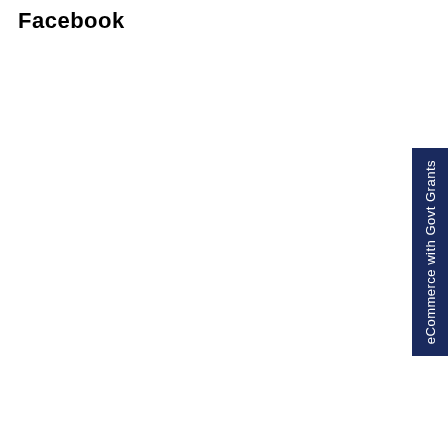Facebook
eCommerce with Govt Grants